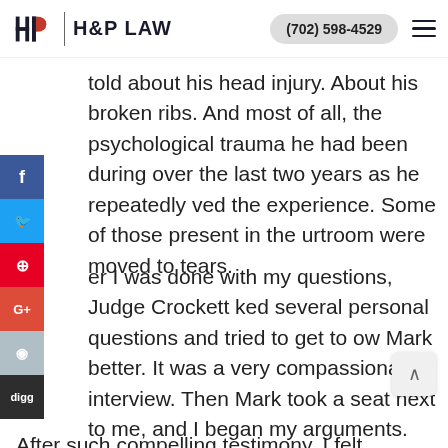H&P LAW | (702) 598-4529
told about his head injury. About his broken ribs. And most of all, the psychological trauma he had been during over the last two years as he repeatedly ved the experience. Some of those present in the urtroom were moved to tears.
er I was done with my questions, Judge Crockett ked several personal questions and tried to get to ow Mark better. It was a very compassionate interview. Then Mark took a seat next to me, and I began my arguments.
After such compelling testimony, I felt emboldened